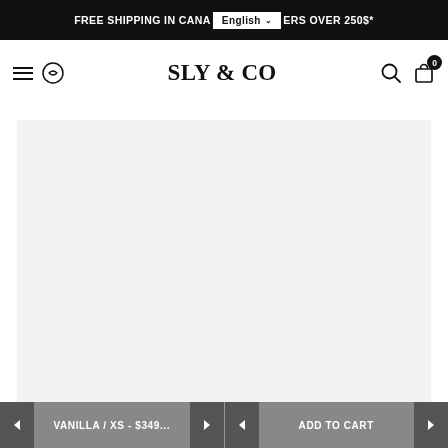FREE SHIPPING IN CANADA ORDERS OVER 250$*
[Figure (logo): SLY & CO brand logo with hamburger menu, Lululemon icon on the left, and search/cart icons on the right]
[Figure (photo): Product image placeholder area with light gray background]
VANILLA / XS - $349... ADD TO CART